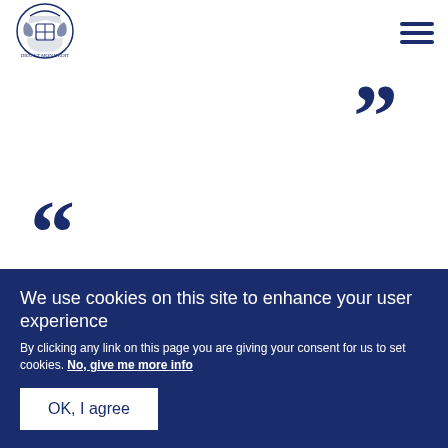[Figure (logo): Royal coat of arms crest logo in dark blue]
”
“
As The Queen’s Commonwealth Youth
We use cookies on this site to enhance your user experience
By clicking any link on this page you are giving your consent for us to set cookies. No, give me more info
OK, I agree